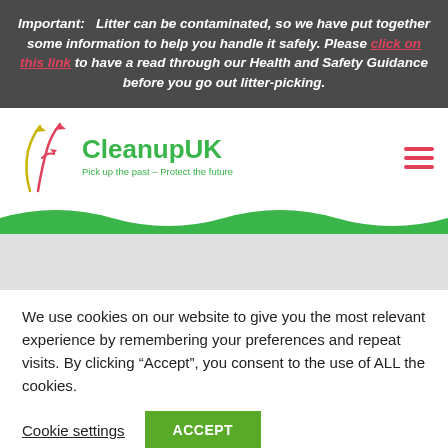Important: Litter can be contaminated, so we have put together some information to help you handle it safely. Please click on this link to have a read through our Health and Safety Guidance before you go out litter-picking.
[Figure (logo): CleanupUK logo with plant/arrow graphic and tagline 'Pick up the past – Protect the future']
We use cookies on our website to give you the most relevant experience by remembering your preferences and repeat visits. By clicking "Accept", you consent to the use of ALL the cookies.
Cookie settings   ACCEPT